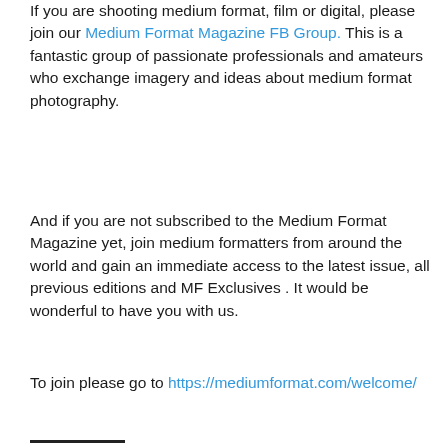If you are shooting medium format, film or digital, please join our Medium Format Magazine FB Group. This is a fantastic group of passionate professionals and amateurs who exchange imagery and ideas about medium format photography.
And if you are not subscribed to the Medium Format Magazine yet, join medium formatters from around the world and gain an immediate access to the latest issue, all previous editions and MF Exclusives . It would be wonderful to have you with us.
To join please go to https://mediumformat.com/welcome/